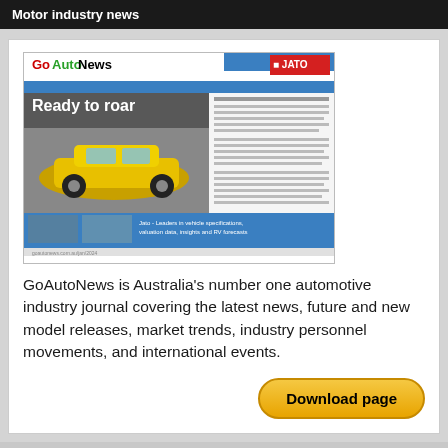Motor industry news
[Figure (screenshot): GoAutoNews magazine cover showing a yellow sports car with headline 'Ready to roar', JATO branding, and footer strip with navigation links]
GoAutoNews is Australia's number one automotive industry journal covering the latest news, future and new model releases, market trends, industry personnel movements, and international events.
Download page
GoAuto can help you buy a new Forester